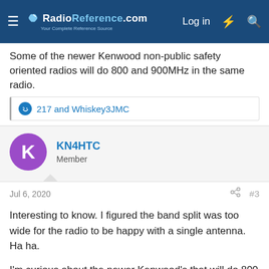RadioReference.com — Log in
Some of the newer Kenwood non-public safety oriented radios will do 800 and 900MHz in the same radio.
217 and Whiskey3JMC
KN4HTC
Member
Jul 6, 2020
#3
Interesting to know. I figured the band split was too wide for the radio to be happy with a single antenna. Ha ha.

I'm curious about the newer Kenwood's that will do 800 and 900 mhz. What models are those?
slicerwizard
Member